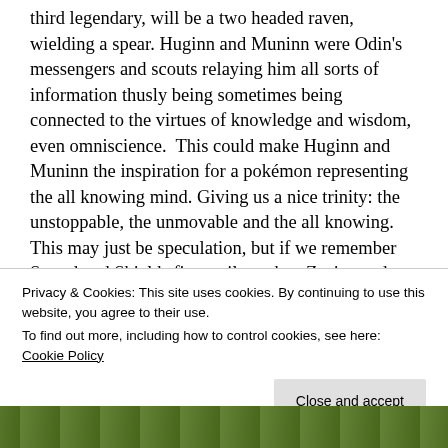third legendary, will be a two headed raven, wielding a spear. Huginn and Muninn were Odin's messengers and scouts relaying him all sorts of information thusly being sometimes being connected to the virtues of knowledge and wisdom, even omniscience.  This could make Huginn and Muninn the inspiration for a pokémon representing the all knowing mind. Giving us a nice trinity: the unstoppable, the unmovable and the all knowing. This may just be speculation, but if we remember Sword and Shields first trailer  when Zacian and Zamazenta where facing off suddenly something
Privacy & Cookies: This site uses cookies. By continuing to use this website, you agree to their use.
To find out more, including how to control cookies, see here: Cookie Policy
[Figure (photo): Partial view of an outdoor nature/forest image at the bottom of the page]